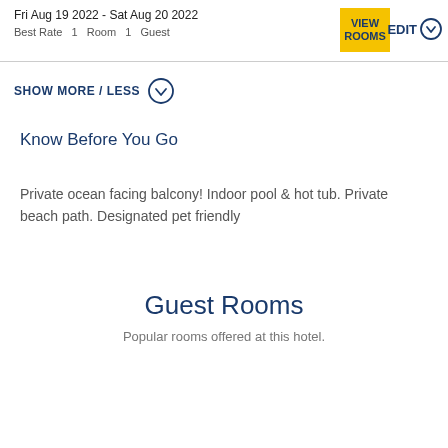Fri Aug 19 2022 - Sat Aug 20 2022
Best Rate  1  Room  1  Guest
SHOW MORE / LESS
Know Before You Go
Private ocean facing balcony! Indoor pool & hot tub. Private beach path. Designated pet friendly
Guest Rooms
Popular rooms offered at this hotel.